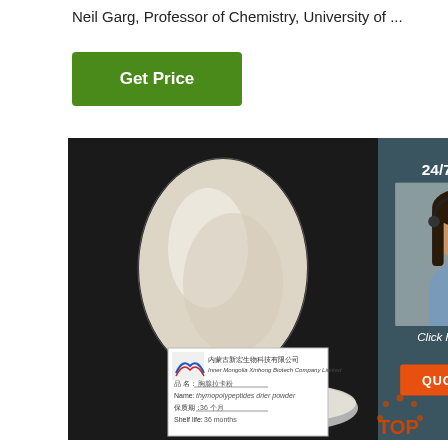Neil Garg, Professor of Chemistry, University of ...
Get Price
[Figure (photo): Photo of a white/cream powder in a glass container and a petri dish on a dark background, with a product label card visible at the bottom]
[Figure (photo): 24/7 Online customer service agent - woman with headset smiling, with buttons 'Click here for free chat!' and 'QUOTATION']